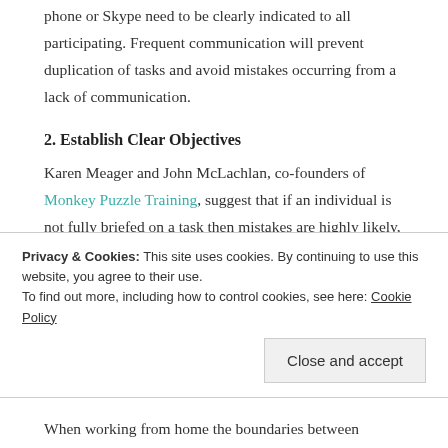phone or Skype need to be clearly indicated to all participating. Frequent communication will prevent duplication of tasks and avoid mistakes occurring from a lack of communication.
2. Establish Clear Objectives
Karen Meager and John McLachlan, co-founders of Monkey Puzzle Training, suggest that if an individual is not fully briefed on a task then mistakes are highly likely, which can be costly for a business as time and money is wasted. Also confusion can be demotivating
Privacy & Cookies: This site uses cookies. By continuing to use this website, you agree to their use.
To find out more, including how to control cookies, see here: Cookie Policy
When working from home the boundaries between